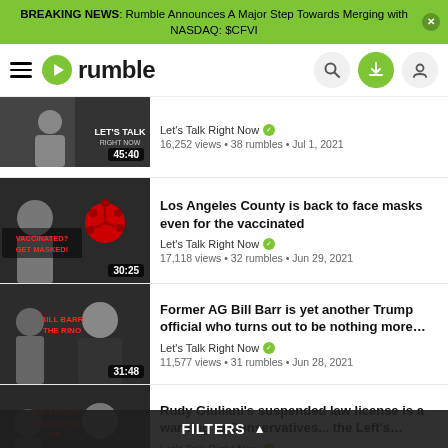BREAKING NEWS: Rumble Announces A Major Step Towards Merging with NASDAQ: $CFVI
[Figure (screenshot): Rumble navigation bar with hamburger menu, Rumble logo, search icon, upload icon, and profile icon]
[Figure (screenshot): Video thumbnail with timestamp 45:40]
Let's Talk Right Now ✓
16,252 views • 38 rumbles • Jul 1, 2021
[Figure (screenshot): Video thumbnail showing VACCINATED? GET MASKED! with timestamp 30:25]
Los Angeles County is back to face masks even for the vaccinated
Let's Talk Right Now ✓
17,118 views • 32 rumbles • Jun 29, 2021
[Figure (screenshot): Video thumbnail showing BILL BARR THE RINO with timestamp 31:48]
Former AG Bill Barr is yet another Trump official who turns out to be nothing more…
Let's Talk Right Now ✓
11,577 views • 31 rumbles • Jun 28, 2021
[Figure (screenshot): Video thumbnail showing THE LEFT IS COMING FOR US with timestamp 29:25]
Rudy Giuliani's suspended law license is a warning to Conservatives... the Left's…
Let's Talk Right Now ✓
12,428 views • 33 rumbles • Jun 24, 2021
[Figure (screenshot): Partial video thumbnail at bottom]
ight into the Juneteenth trap set by Democrats
FILTERS ▲